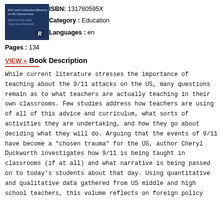[Figure (photo): Book cover for '9/11 and Collective Memory in US Classrooms' with blue background and Routledge logo]
ISBN: 131780595X
Category : Education
Languages : en
Pages : 134
VIEW » Book Description
While current literature stresses the importance of teaching about the 9/11 attacks on the US, many questions remain as to what teachers are actually teaching in their own classrooms. Few studies address how teachers are using of all of this advice and curriculum, what sorts of activities they are undertaking, and how they go about deciding what they will do. Arguing that the events of 9/11 have become a "chosen trauma" for the US, author Cheryl Duckworth investigates how 9/11 is being taught in classrooms (if at all) and what narrative is being passed on to today's students about that day. Using quantitative and qualitative data gathered from US middle and high school teachers, this volume reflects on foreign policy